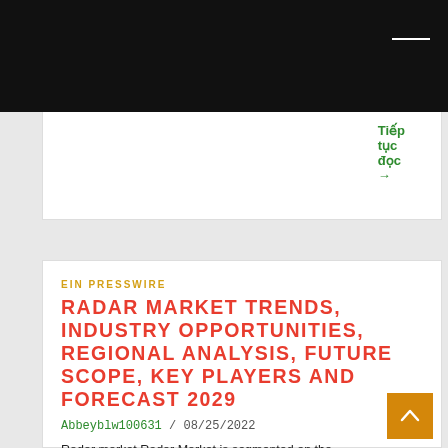Tiếp tục đọc →
EIN PRESSWIRE
RADAR MARKET TRENDS, INDUSTRY OPPORTUNITIES, REGIONAL ANALYSIS, FUTURE SCOPE, KEY PLAYERS AND FORECAST 2029
Abbeyblw100631 / 08/25/2022
Radar market Radar Market is segmented on the basis of type, range, band, and application PUNE